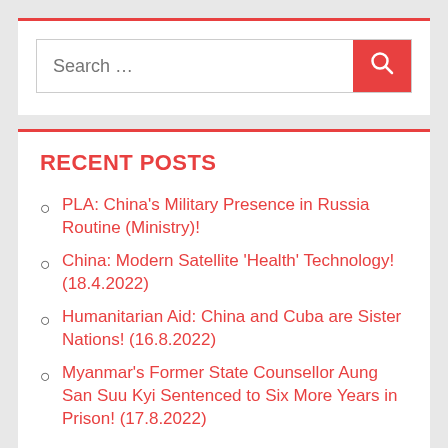[Figure (screenshot): Search bar widget with red search button and magnifying glass icon]
RECENT POSTS
PLA: China's Military Presence in Russia Routine (Ministry)!
China: Modern Satellite 'Health' Technology! (18.4.2022)
Humanitarian Aid: China and Cuba are Sister Nations! (16.8.2022)
Myanmar's Former State Counsellor Aung San Suu Kyi Sentenced to Six More Years in Prison! (17.8.2022)